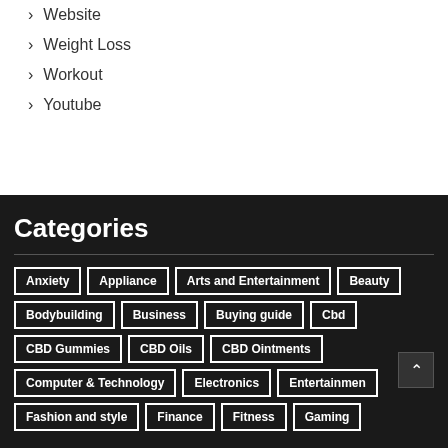Website
Weight Loss
Workout
Youtube
Categories
Anxiety
Appliance
Arts and Entertainment
Beauty
Bodybuilding
Business
Buying guide
Cbd
CBD Gummies
CBD Oils
CBD Ointments
Computer & Technology
Electronics
Entertainment
Fashion and style
Finance
Fitness
Gaming